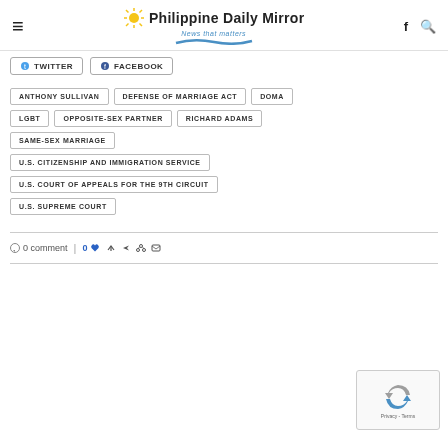Philippine Daily Mirror — News that matters
TWITTER
FACEBOOK
ANTHONY SULLIVAN
DEFENSE OF MARRIAGE ACT
DOMA
LGBT
OPPOSITE-SEX PARTNER
RICHARD ADAMS
SAME-SEX MARRIAGE
U.S. CITIZENSHIP AND IMMIGRATION SERVICE
U.S. COURT OF APPEALS FOR THE 9TH CIRCUIT
U.S. SUPREME COURT
0 comment
0